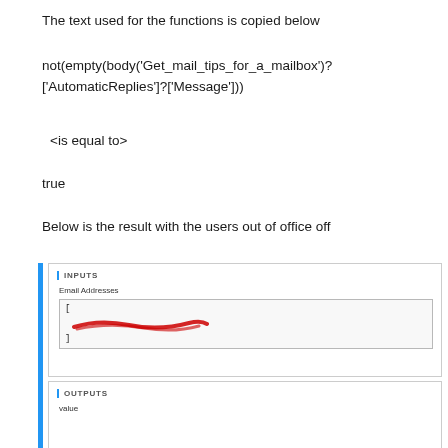The text used for the functions is copied below
not(empty(body('Get_mail_tips_for_a_mailbox')?['AutomaticReplies']?['Message']))
<is equal to>
true
Below is the result with the users out of office off
[Figure (screenshot): Screenshot showing INPUTS panel with Email Addresses field containing redacted email address in brackets, and OUTPUTS panel with value field, both panels have blue left border indicators]